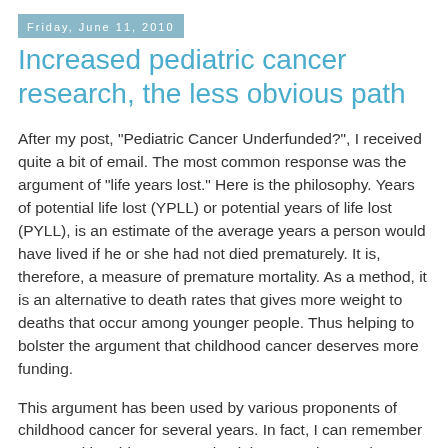Friday, June 11, 2010
Increased pediatric cancer research, the less obvious path
After my post, "Pediatric Cancer Underfunded?", I received quite a bit of email. The most common response was the argument of "life years lost." Here is the philosophy. Years of potential life lost (YPLL) or potential years of life lost (PYLL), is an estimate of the average years a person would have lived if he or she had not died prematurely. It is, therefore, a measure of premature mortality. As a method, it is an alternative to death rates that gives more weight to deaths that occur among younger people. Thus helping to bolster the argument that childhood cancer deserves more funding.
This argument has been used by various proponents of childhood cancer for several years. In fact, I can remember many making this argument back in 2003 when Sydney was diagnosed. Sure, it is an interesting statistic to those that want more pediatric cancer funding. Unfortunately, outside of its use as a byline in a far more comprehensive and to the